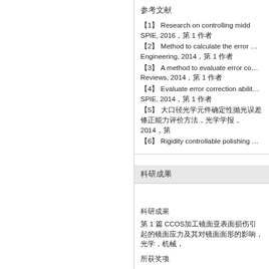参考文献
【1】 Research on controlling midd... SPIE, 2016，第 1 作者
【2】 Method to calculate the error ... Engineering, 2014，第 1 作者
【3】 A method to evaluate error co... Reviews, 2014，第 1 作者
【4】 Evaluate error correction abilit... SPIE, 2014，第 1 作者
【5】 大口径光学元件确定性抛光误差修正能力评价方法，光学学报，2014，第
【6】 Rigidity controllable polishing ...
科研成果
科研成果
第 1 篇 CCOS加工镜面亚表面损伤引起的镜面应力及其对镜面面形的影响，光学，机械，
所获奖项